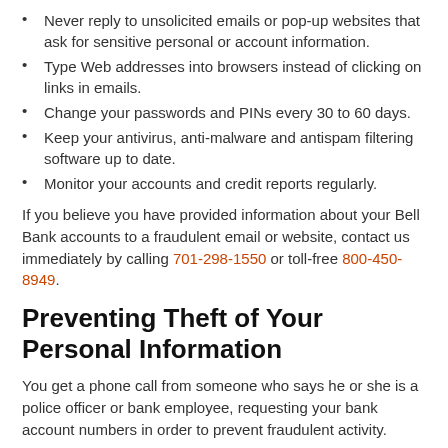Never reply to unsolicited emails or pop-up websites that ask for sensitive personal or account information.
Type Web addresses into browsers instead of clicking on links in emails.
Change your passwords and PINs every 30 to 60 days.
Keep your antivirus, anti-malware and antispam filtering software up to date.
Monitor your accounts and credit reports regularly.
If you believe you have provided information about your Bell Bank accounts to a fraudulent email or website, contact us immediately by calling 701-298-1550 or toll-free 800-450-8949.
Preventing Theft of Your Personal Information
You get a phone call from someone who says he or she is a police officer or bank employee, requesting your bank account numbers in order to prevent fraudulent activity.